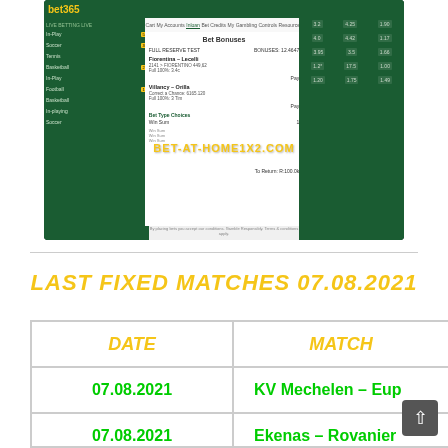[Figure (screenshot): bet365 website screenshot showing a bet slip with matches, watermarked with BET-AT-HOME1X2.COM]
LAST FIXED MATCHES 07.08.2021
| DATE | MATCH |
| --- | --- |
| 07.08.2021 | KV Mechelen – Eup... |
| 07.08.2021 | Ekenas – Rovainie... |